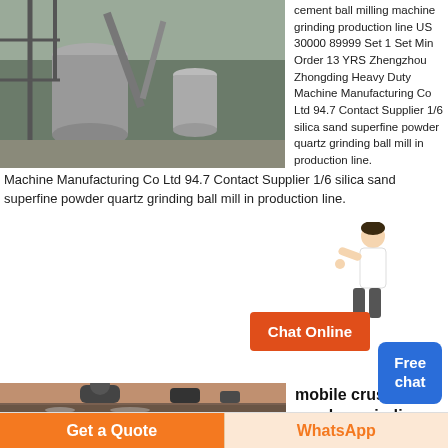[Figure (photo): Industrial ball mill / cement grinding production line machinery, overhead view]
cement ball milling machine grinding production line US 30000 89999 Set 1 Set Min Order 13 YRS Zhengzhou Zhongding Heavy Duty Machine Manufacturing Co Ltd 94.7 Contact Supplier 1/6 silica sand superfine powder quartz grinding ball mill in production line.
[Figure (illustration): Chat Online button (orange) with person illustration and Free chat button (blue)]
[Figure (photo): Mobile crusher jaw crusher grinding mill machinery on display floor]
mobile crusher jaw crusher grinding mill Fighter Corporation
The customer of the limestone grinding production line cooperates again with Fighter Corporation 5X sand making machine accelerates the
[Figure (infographic): Get a Quote button (orange) and WhatsApp button (light orange)]